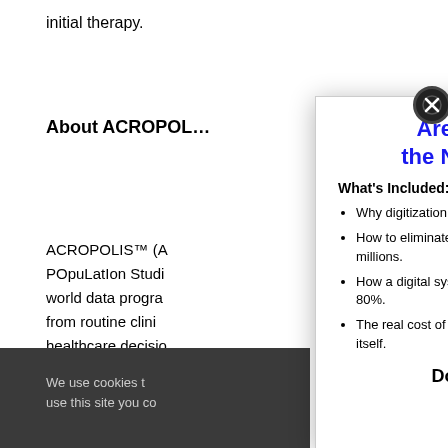initial therapy.
About ACROPOL…
ACROPOLIS™ (A… POpuLatIon Studi… world data progra… from routine clini… healthcare decisio… and payers. The A… retrospective, outc… databases around…
We use cookies t… use this site you co…
Are You Prepared for the New Digital Reality?
What's Included:
Why digitization is a must for competitive manufacturing.
How to eliminate shop floor errors that cost manufacturers millions.
How a digital system can decrease post-production time by 80%.
The real cost of inefficiency and why digitization pays for itself.
Download Whitepaper
.